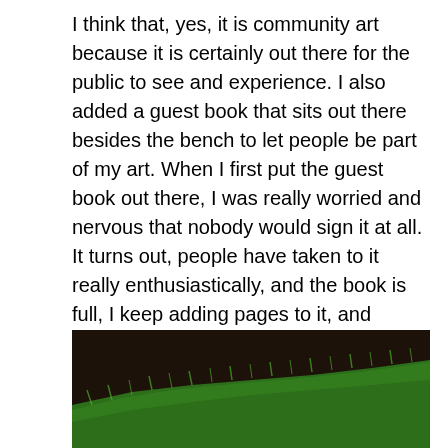I think that, yes, it is community art because it is certainly out there for the public to see and experience. I also added a guest book that sits out there besides the bench to let people be part of my art. When I first put the guest book out there, I was really worried and nervous that nobody would sign it at all. It turns out, people have taken to it really enthusiastically, and the book is full, I keep adding pages to it, and people just love seeing what other people have written. And so I think from the community book alone it's really a piece of community art.
[Figure (photo): A dark soil/ground background with bright green grass or turf appearing along a diagonal line from lower left to upper right, partially filling the bottom portion of the image.]